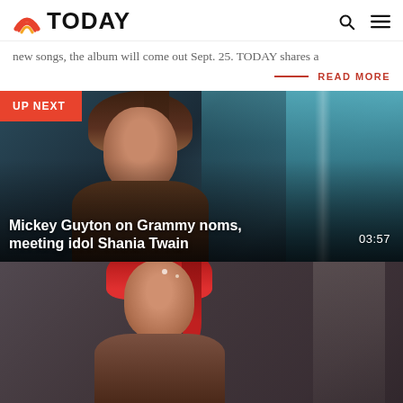TODAY
new songs, the album will come out Sept. 25. TODAY shares a
READ MORE
[Figure (screenshot): Video thumbnail showing Mickey Guyton smiling, with UP NEXT badge in top left corner. Title reads: Mickey Guyton on Grammy noms, meeting idol Shania Twain. Duration: 03:57]
[Figure (screenshot): Partial video thumbnail showing a woman with red hair, cropped at bottom of page.]